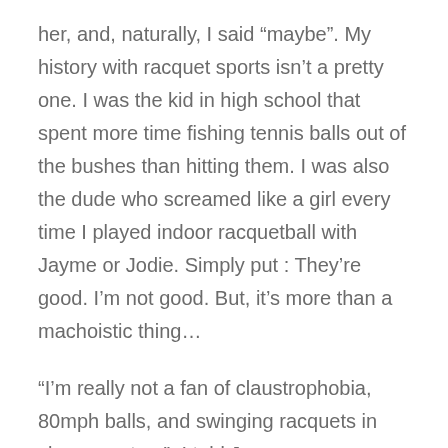her, and, naturally, I said “maybe”. My history with racquet sports isn’t a pretty one. I was the kid in high school that spent more time fishing tennis balls out of the bushes than hitting them. I was also the dude who screamed like a girl every time I played indoor racquetball with Jayme or Jodie. Simply put : They’re good. I’m not good. But, it’s more than a machoistic thing…
“I’m really not a fan of claustrophobia, 80mph balls, and swinging racquets in close quarters”, I told Jayme.
“It’s not a racquet, it’s a paddle”, Jayme encouraged me.